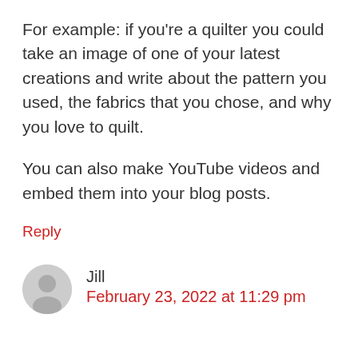For example: if you're a quilter you could take an image of one of your latest creations and write about the pattern you used, the fabrics that you chose, and why you love to quilt.
You can also make YouTube videos and embed them into your blog posts.
Reply
Jill
February 23, 2022 at 11:29 pm